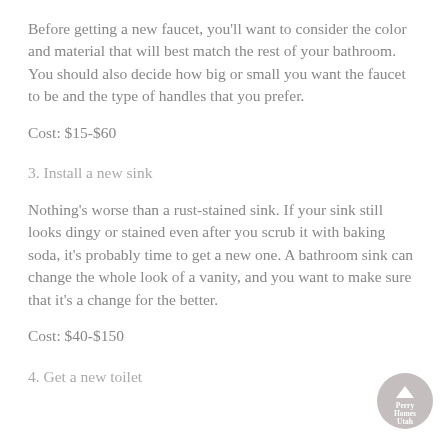Before getting a new faucet, you'll want to consider the color and material that will best match the rest of your bathroom. You should also decide how big or small you want the faucet to be and the type of handles that you prefer.
Cost: $15-$60
3. Install a new sink
Nothing's worse than a rust-stained sink. If your sink still looks dingy or stained even after you scrub it with baking soda, it's probably time to get a new one. A bathroom sink can change the whole look of a vanity, and you want to make sure that it's a change for the better.
Cost: $40-$150
4. Get a new toilet
[Figure (logo): Perry Homes Utah circular logo with upward arrow]